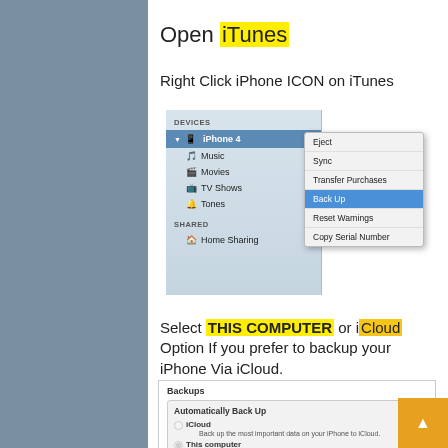Open iTunes
Right Click iPhone ICON on iTunes
[Figure (screenshot): iTunes sidebar showing iPhone 4 device with Music, Movies, TV Shows, Tones, Home Sharing. Context menu open showing: Eject, Sync, Transfer Purchases, Back Up (highlighted), Reset Warnings, Copy Serial Number]
Select THIS COMPUTER or iCloud Option If you prefer to backup your iPhone Via iCloud.
[Figure (screenshot): Backups panel showing Automatically Back Up options: iCloud (unselected) with description, This computer (selected) with description, Encrypt iPhone backup checkbox with description]